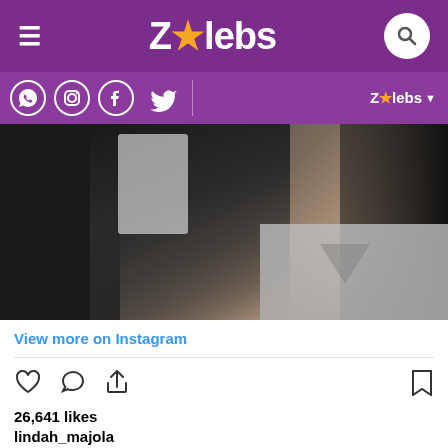ZAlebs
[Figure (screenshot): ZAlebs website header with hamburger menu, ZAlebs logo with orange star, and search icon on purple background]
[Figure (screenshot): Social media icons row (WhatsApp, Instagram, Facebook, Twitter) with ZAlebs dropdown on purple background]
[Figure (photo): Close-up photo of a person with mouth open, wearing a light grey sleeveless top, with arm raised, on dark background]
View more on Instagram
26,641 likes
lindah_majola
I'm ready Senzo 🙊😊